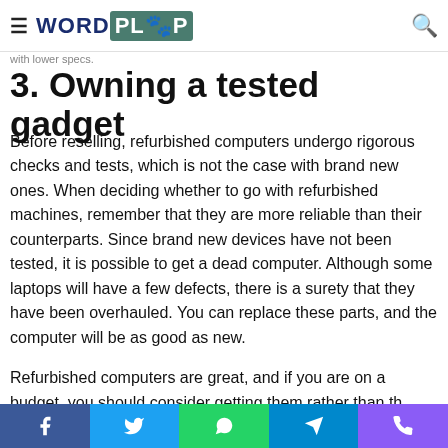WORDPLOP
with lower specs.
3. Owning a tested gadget
Before reselling, refurbished computers undergo rigorous checks and tests, which is not the case with brand new ones. When deciding whether to go with refurbished machines, remember that they are more reliable than their counterparts. Since brand new devices have not been tested, it is possible to get a dead computer. Although some laptops will have a few defects, there is a surety that they have been overhauled. You can replace these parts, and the computer will be as good as new.
Refurbished computers are great, and if you are on a budget, you should consider getting them rather than...
Facebook Twitter WhatsApp Telegram Viber